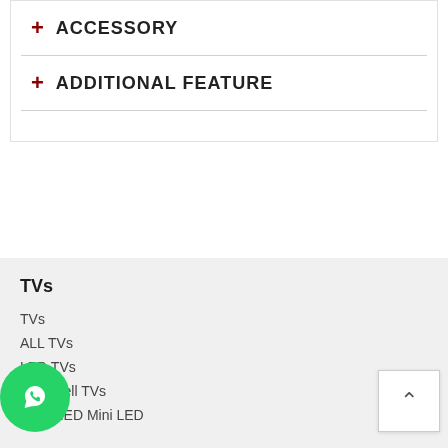+ ACCESSORY
+ ADDITIONAL FEATURE
TVs
TVs
ALL TVs
LED TVs
NanoCell TVs
LG QNED Mini LED